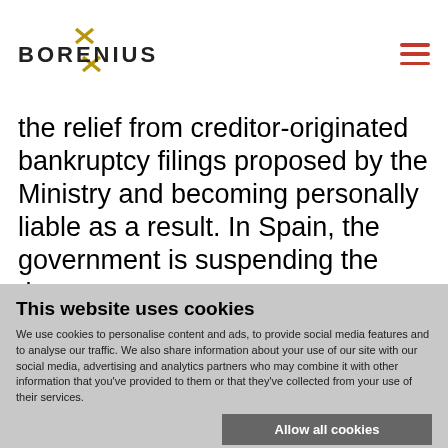BORENIUS
the relief from creditor-originated bankruptcy filings proposed by the Ministry and becoming personally liable as a result. In Spain, the government is suspending the time
This website uses cookies
We use cookies to personalise content and ads, to provide social media features and to analyse our traffic. We also share information about your use of our site with our social media, advertising and analytics partners who may combine it with other information that you've provided to them or that they've collected from your use of their services.
Allow all cookies
Allow selection
Use necessary cookies only
✓ Necessary   Preferences   Statistics   Show details  Marketing